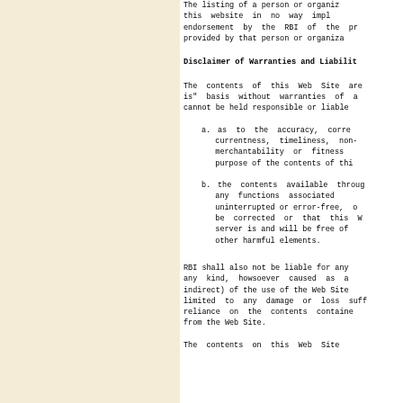The listing of a person or organization on this website in no way implies endorsement by the RBI of the products provided by that person or organization.
Disclaimer of Warranties and Liabilities
The contents of this Web Site are on "as is" basis without warranties of any kind. RBI cannot be held responsible or liable
a. as to the accuracy, correctness, currentness, timeliness, non-infringement, merchantability or fitness for a particular purpose of the contents of this Web Site;
b. the contents available through this Web Site or any functions associated will be uninterrupted or error-free, or that defects will be corrected or that this Web Site and its server is and will be free of viruses or other harmful elements.
RBI shall also not be liable for any loss or damage of any kind, howsoever caused as a result (direct or indirect) of the use of the Web Site, including but not limited to any damage or loss suffered as a result of reliance on the contents contained in or available from the Web Site.
The contents on this Web Site